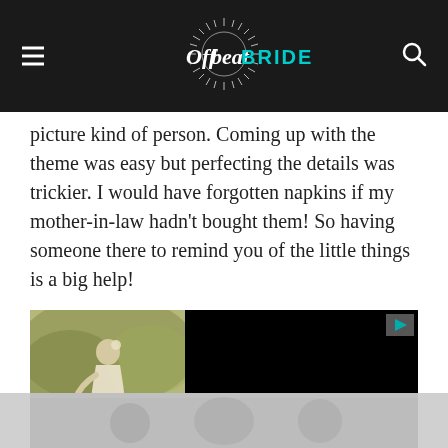Offbeat BRIDE
picture kind of person. Coming up with the theme was easy but perfecting the details was trickier. I would have forgotten napkins if my mother-in-law hadn't bought them! So having someone there to remind you of the little things is a big help!
[Figure (photo): Bride in white dress outdoors among green foliage (sepia/vintage tones), partially overlapped by a black video player area with a play button in the top right corner.]
[Figure (photo): Bottom strip showing a partially visible grayscale photo of wedding scene.]